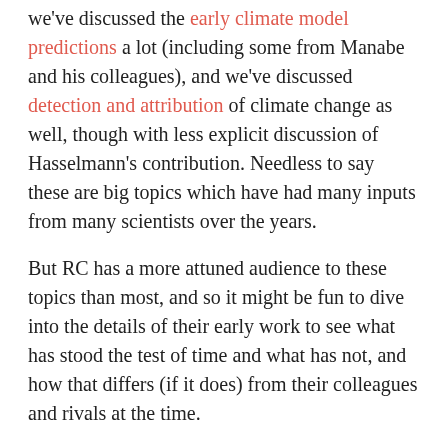we've discussed the early climate model predictions a lot (including some from Manabe and his colleagues), and we've discussed detection and attribution of climate change as well, though with less explicit discussion of Hasselmann's contribution. Needless to say these are big topics which have had many inputs from many scientists over the years.
But RC has a more attuned audience to these topics than most, and so it might be fun to dive into the details of their early work to see what has stood the test of time and what has not, and how that differs (if it does) from their colleagues and rivals at the time.
[Read more...]
FILED UNDER: CLIMATE MODELLING, CLIMATE SCIENCE, GREENHOUSE GASES, IN THE NEWS
TAGGED WITH: HASSELMANN, MANABE, NOBEL PRIZE
Unforced Variations: October...